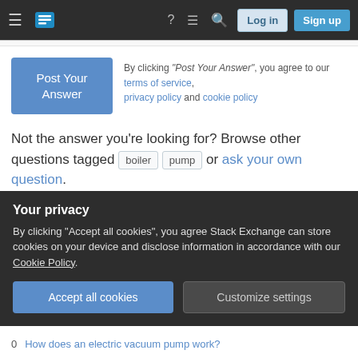Stack Exchange navigation bar with Log in and Sign up buttons
By clicking "Post Your Answer", you agree to our terms of service, privacy policy and cookie policy
Not the answer you're looking for? Browse other questions tagged boiler pump or ask your own question.
Featured on Meta
Please welcome Valued Associate #1301 - Emerson
Your privacy
By clicking "Accept all cookies", you agree Stack Exchange can store cookies on your device and disclose information in accordance with our Cookie Policy.
Accept all cookies  Customize settings
0  How does an electric vacuum pump work?